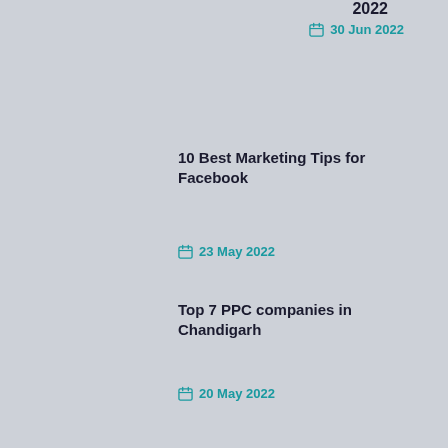2022
30 Jun 2022
10 Best Marketing Tips for Facebook
23 May 2022
Top 7 PPC companies in Chandigarh
20 May 2022